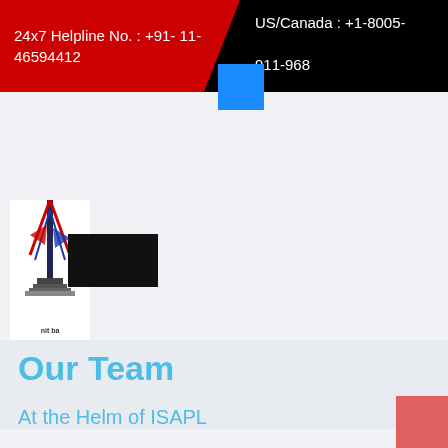24x7 Helpline No. : +91- 11- 46594412    US/Canada : +1-8005-911-968
[Figure (logo): ISAPL tower logo with red, blue and black colors and text 'nit ba' below]
[Figure (other): Black rectangle placeholder image]
Our Team
At the Helm of ISAPL